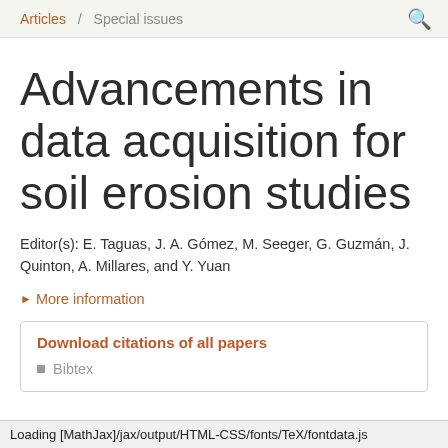Articles / Special issues
Advancements in data acquisition for soil erosion studies
Editor(s): E. Taguas, J. A. Gómez, M. Seeger, G. Guzmán, J. Quinton, A. Millares, and Y. Yuan
▶ More information
Download citations of all papers
Bibtex
Loading [MathJax]/jax/output/HTML-CSS/fonts/TeX/fontdata.js